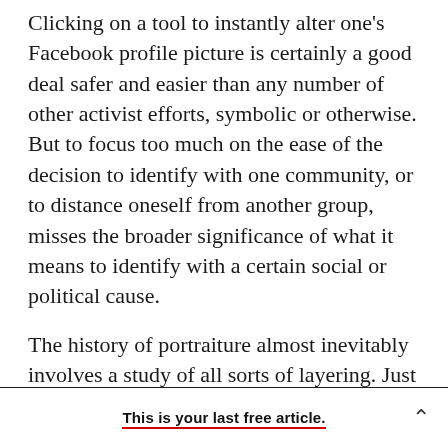Clicking on a tool to instantly alter one's Facebook profile picture is certainly a good deal safer and easier than any number of other activist efforts, symbolic or otherwise. But to focus too much on the ease of the decision to identify with one community, or to distance oneself from another group, misses the broader significance of what it means to identify with a certain social or political cause.
The history of portraiture almost inevitably involves a study of all sorts of layering. Just as people are multidimensional, portraits—and
This is your last free article.